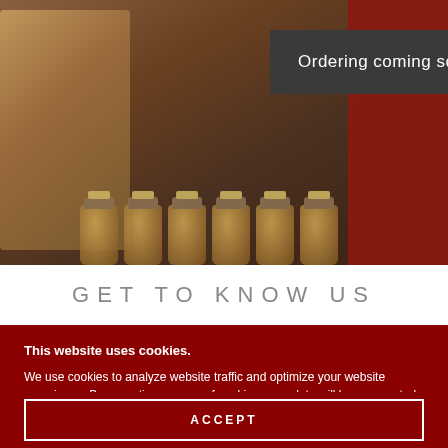[Figure (photo): A store display with autumn/fall themed decorations on the left including a round sign saying 'Hello Autumn' and a 'Blessed' sign with pumpkins, jars of jam/preserves in the center, and a red shelving unit on the right with products. A dark banner overlay reads 'Ordering coming soon'.]
Ordering coming soon
GET TO KNOW US
This website uses cookies.
We use cookies to analyze website traffic and optimize your website experience. By accepting our use of cookies, your data will be aggregated with all other user data.
ACCEPT